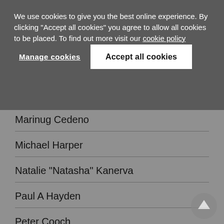We use cookies to give you the best online experience. By clicking "Accept all cookies" you agree to allow all cookies to be placed. To find out more visit our cookie policy
Manage cookies
Accept all cookies
Marinug Cedeno
Michael Harper
Natalie "Natasha" Kanerva
Paul A Hayden
Peter Cooch
Randall Warden